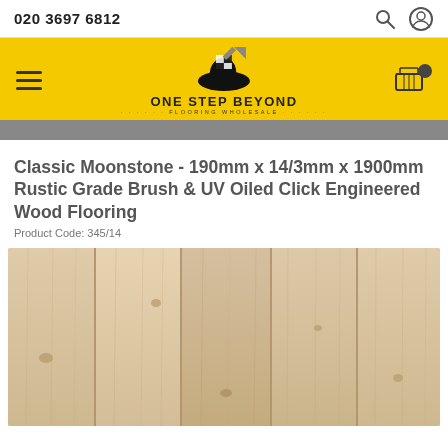020 3697 6812
[Figure (logo): One Step Beyond Flooring Wholesale logo — a shoe with a checkered pattern on a yellow background bar, with hamburger menu icon on the left and cart icon on the right]
Classic Moonstone - 190mm x 14/3mm x 1900mm Rustic Grade Brush & UV Oiled Click Engineered Wood Flooring
Product Code: 345/14
[Figure (photo): Close-up photo of light-coloured engineered wood flooring planks showing natural grain and knots — the Classic Moonstone product]